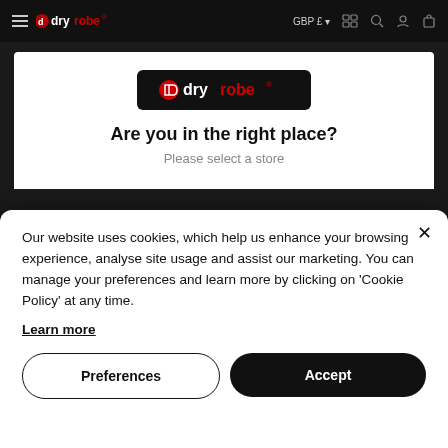dryrobe navigation bar with GBP £ currency selector and icons
[Figure (screenshot): dryrobe website background showing logo modal with 'Are you in the right place? Please select a store' heading]
Our website uses cookies, which help us enhance your browsing experience, analyse site usage and assist our marketing. You can manage your preferences and learn more by clicking on 'Cookie Policy' at any time.
Learn more
Preferences
Accept